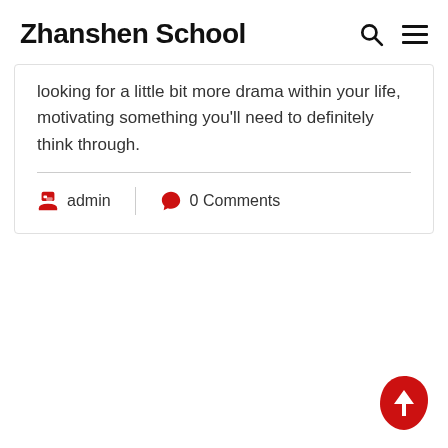Zhanshen School
looking for a little bit more drama within your life, motivating something you'll need to definitely think through.
admin  |  0 Comments